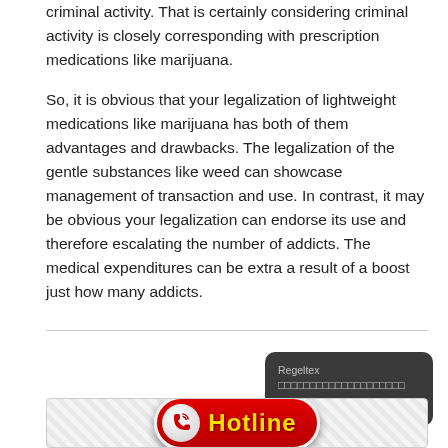criminal activity. That is certainly considering criminal activity is closely corresponding with prescription medications like marijuana.
So, it is obvious that your legalization of lightweight medications like marijuana has both of them advantages and drawbacks. The legalization of the gentle substances like weed can showcase management of transaction and use. In contrast, it may be obvious your legalization can endorse its use and therefore escalating the number of addicts. The medical expenditures can be extra a result of a boost just how many addicts.
[Figure (other): Dark rounded card widget with text 'Regeltex' followed by Thai/unicode characters and a right arrow]
[Figure (other): Red hotline button with phone icon and 'Hotline' text in yellow on red background, on a light gray hatched area]